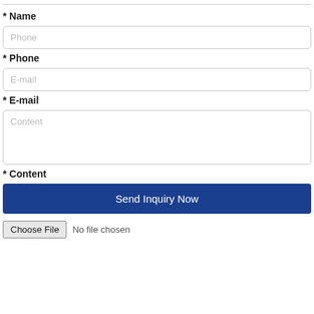* Name
Phone (placeholder)
* Phone
E-mail (placeholder)
* E-mail
Content (placeholder)
* Content
Send Inquiry Now
Choose File  No file chosen